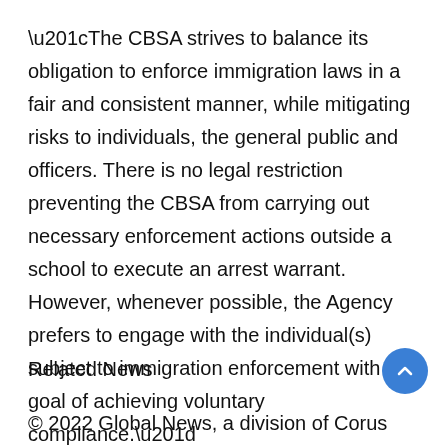“The CBSA strives to balance its obligation to enforce immigration laws in a fair and consistent manner, while mitigating risks to individuals, the general public and officers. There is no legal restriction preventing the CBSA from carrying out necessary enforcement actions outside a school to execute an arrest warrant. However, whenever possible, the Agency prefers to engage with the individual(s) subject to immigration enforcement with the goal of achieving voluntary compliance.”
Related News
© 2022 Global News, a division of Corus